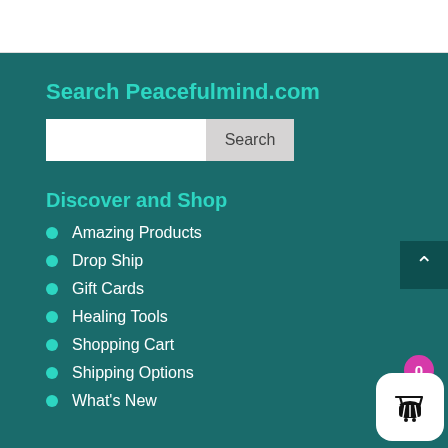Search Peacefulmind.com
Discover and Shop
Amazing Products
Drop Ship
Gift Cards
Healing Tools
Shopping Cart
Shipping Options
What's New